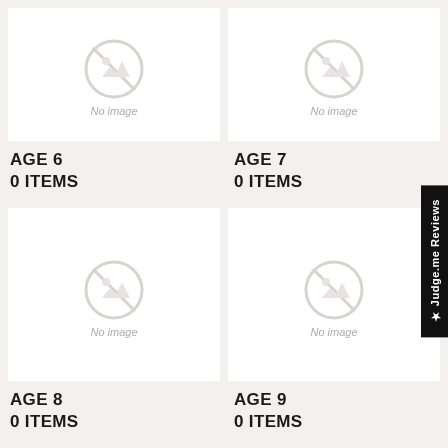[Figure (illustration): Product placeholder card with no-image icon and 'No image' text, top-left]
[Figure (illustration): Product placeholder card with no-image icon and 'No image' text, top-right]
AGE 6
0 ITEMS
AGE 7
0 ITEMS
[Figure (illustration): Product placeholder card with no-image icon and 'No image' text, bottom-left]
[Figure (illustration): Product placeholder card with no-image icon and 'No image' text, bottom-right]
AGE 8
0 ITEMS
AGE 9
0 ITEMS